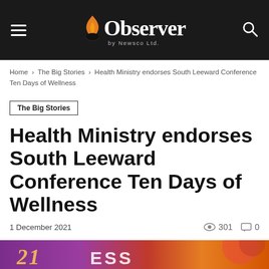Observer by Newsco Ltd.
Home › The Big Stories › Health Ministry endorses South Leeward Conference Ten Days of Wellness
The Big Stories
Health Ministry endorses South Leeward Conference Ten Days of Wellness
1 December 2021   301   0
[Figure (photo): Partial image of a banner/event backdrop with purple and orange colors, showing partial text]